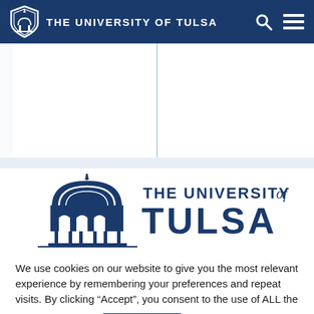THE UNIVERSITY OF TULSA
[Figure (logo): The University of Tulsa large logo with building dome illustration and university name text]
We use cookies on our website to give you the most relevant experience by remembering your preferences and repeat visits. By clicking “Accept”, you consent to the use of ALL the cookies.
Cookie settings  ACCEPT